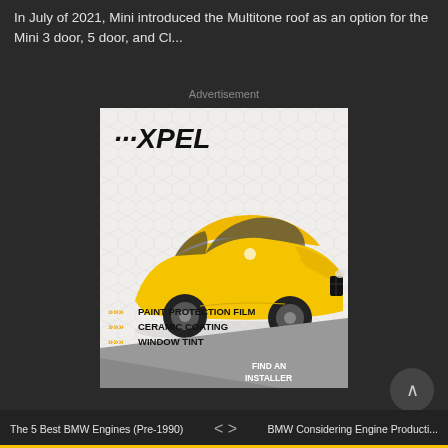In July of 2021, Mini introduced the Multitone roof as an option for the Mini 3 door, 5 door, and Cl...
Advertisement
[Figure (photo): XPEL advertisement showing a yellow BMW sports car with text: PAINT PROTECTION FILM, CERAMIC COATING, WINDOW TINT. Bottom right shows FIND AN INSTALLER call to action.]
The 5 Best BMW Engines (Pre-1990)    <    >    BMW Considering Engine Producti...